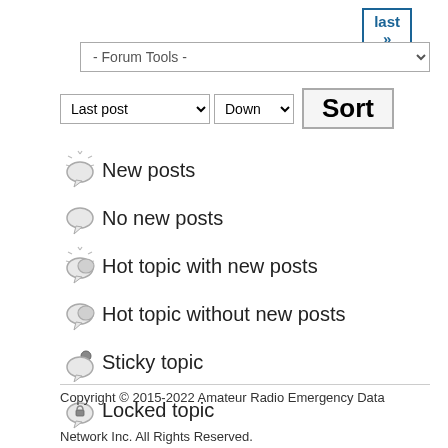last »
- Forum Tools -
Last post  Down  Sort
New posts
No new posts
Hot topic with new posts
Hot topic without new posts
Sticky topic
Locked topic
Copyright © 2015-2022 Amateur Radio Emergency Data Network Inc. All Rights Reserved.